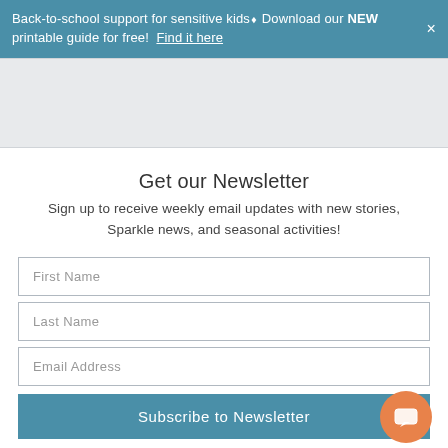Back-to-school support for sensitive kids⬧ Download our NEW printable guide for free! Find it here
[Figure (other): Grey banner/advertisement area below navigation]
Get our Newsletter
Sign up to receive weekly email updates with new stories, Sparkle news, and seasonal activities!
First Name
Last Name
Email Address
Subscribe to Newsletter